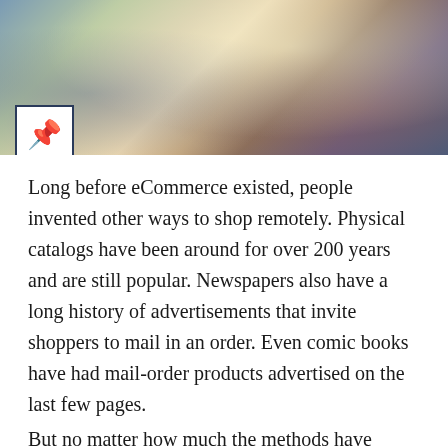[Figure (photo): Blurred photo with a pushpin icon overlaid in a white square box in the lower-left corner]
Long before eCommerce existed, people invented other ways to shop remotely. Physical catalogs have been around for over 200 years and are still popular. Newspapers also have a long history of advertisements that invite shoppers to mail in an order. Even comic books have had mail-order products advertised on the last few pages.
But no matter how much the methods have